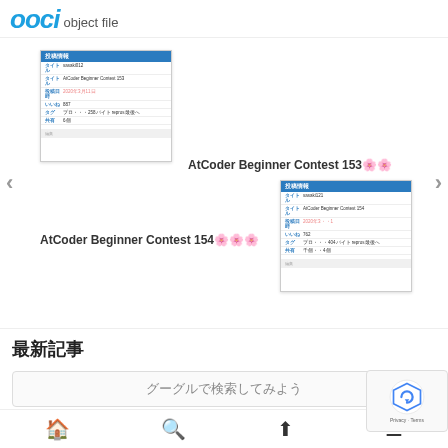ooci object file
[Figure (screenshot): Mini card screenshot of AtCoder Beginner Contest 153 detail page with blue header]
AtCoder Beginner Contest 153🌸🌸
AtCoder Beginner Contest 154🌸🌸🌸
[Figure (screenshot): Mini card screenshot of AtCoder Beginner Contest 154 detail page with blue header]
最新記事
グーグルで検索してみよう
Home Search Upload Menu